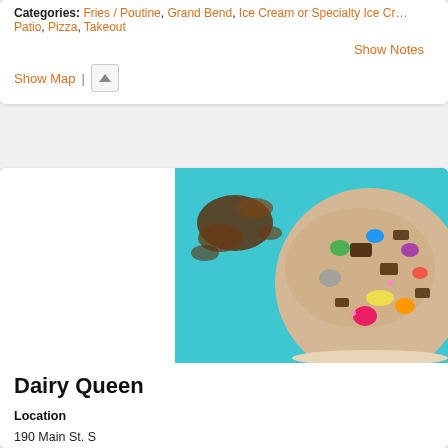Categories: Fries / Poutine, Grand Bend, Ice Cream or Specialty Ice Cream, Patio, Pizza, Takeout
Show Notes
Show Map |
[Figure (photo): Top-down photo of a Dairy Queen ice cream blizzard cup with candy toppings on a teal background]
Dairy Queen
Location
190 Main St. S
Exeter Ontario N0M 1S1
Phone: 519-235-0353